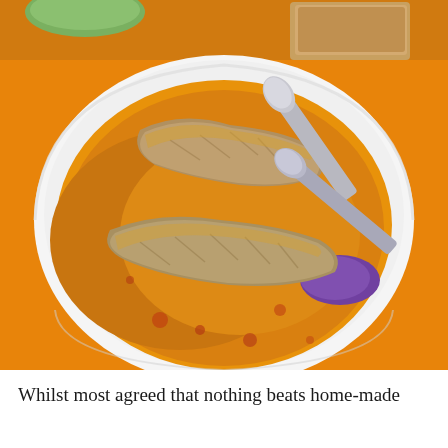[Figure (photo): A white oval bowl containing fish curry with golden-orange spiced sauce and pieces of fish, being served with spoons. The bowl sits on an orange surface with bread visible in the background.]
Whilst most agreed that nothing beats home-made